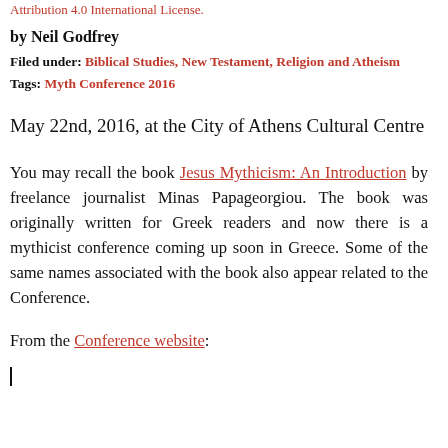Attribution 4.0 International License.
by Neil Godfrey
Filed under: Biblical Studies, New Testament, Religion and Atheism
Tags: Myth Conference 2016
May 22nd, 2016, at the City of Athens Cultural Centre
You may recall the book Jesus Mythicism: An Introduction by freelance journalist Minas Papageorgiou. The book was originally written for Greek readers and now there is a mythicist conference coming up soon in Greece. Some of the same names associated with the book also appear related to the Conference.
From the Conference website: